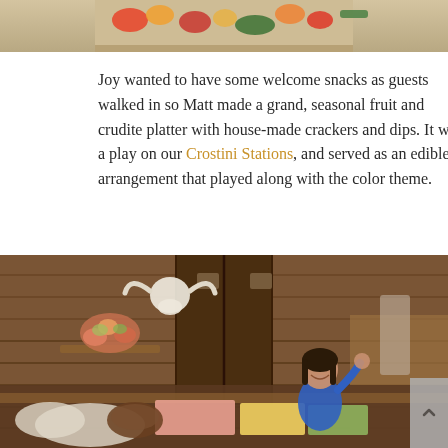[Figure (photo): Top portion of a food platter photo showing autumn/fall themed food arrangement on a wooden surface with colorful vegetables and decorations]
Joy wanted to have some welcome snacks as guests walked in so Matt made a grand, seasonal fruit and crudite platter with house-made crackers and dips. It was a play on our Crostini Stations, and served as an edible arrangement that played along with the color theme.
[Figure (photo): Interior of a rustic barn venue with wooden walls. A young girl in a blue shirt smiles at the camera. Behind her are decorative elements including a bull skull on the wall, a floral arrangement, and food preparation items on tables including colorful napkins and ingredients.]